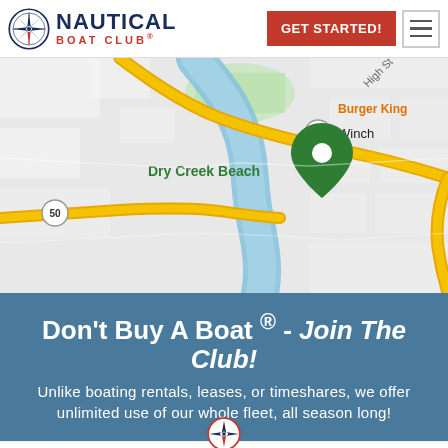Nautical Boat Club — GET STARTED! navigation header
[Figure (map): Google Maps screenshot showing Dry Creek Beach location near route 50, with a green location pin, river/creek waterway in blue, yellow highway routes, and partial labels including Burger King and Winchester area]
Don't Buy A Boat ® - Join The Club!
Unlike boating rentals, leases, or timeshares, we offer unlimited use of our whole fleet, all season long!